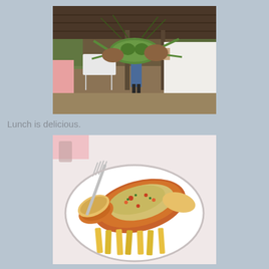[Figure (photo): A person in a white chef's uniform holding a live lobster at an outdoor beach restaurant with tables visible in the background.]
Lunch is delicious.
[Figure (photo): A cooked lobster shell filled with a rice and seafood mixture, served on a white plate with french fries and bread slices, with a fork visible.]